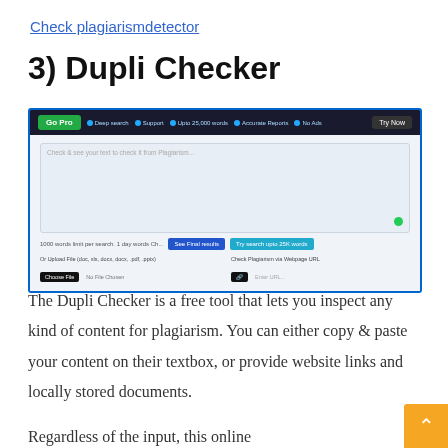Check plagiarismdetector
3) Dupli Checker
[Figure (screenshot): Screenshot of the Dupli Checker plagiarism detection tool interface showing a textarea input, Go Pro bar, file upload and URL check options]
The Dupli Checker is a free tool that lets you inspect any kind of content for plagiarism. You can either copy & paste your content on their textbox, or provide website links and locally stored documents.
Regardless of the input, this online